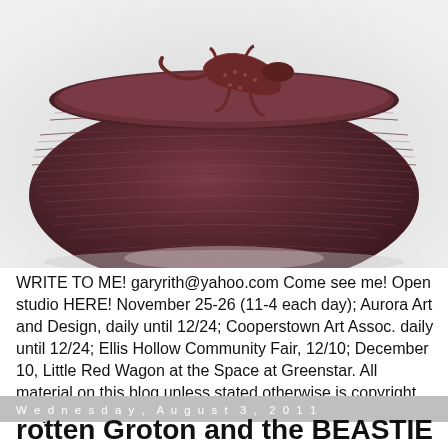[Figure (photo): Close-up photograph of a dark reddish-brown glazed ceramic pottery bowl or jar with horizontal ribbed texture and a sculptural lizard or salamander figure on the lid, shot against a light gray/white background.]
WRITE TO ME! garyrith@yahoo.com Come see me! Open studio HERE! November 25-26 (11-4 each day); Aurora Art and Design, daily until 12/24; Cooperstown Art Assoc. daily until 12/24; Ellis Hollow Community Fair, 12/10; December 10, Little Red Wagon at the Space at Greenstar. All material on this blog unless stated otherwise is copyright Gary Edward Rith 2016
Wednesday, August 3, 2011
rotten Groton and the BEASTIE